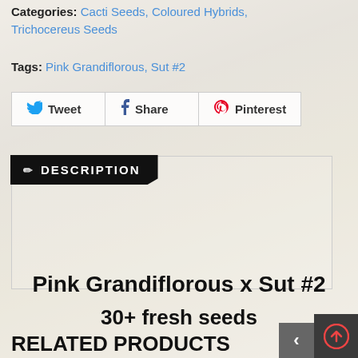Categories: Cacti Seeds, Coloured Hybrids, Trichocereus Seeds
Tags: Pink Grandiflorous, Sut #2
[Figure (screenshot): Social sharing buttons: Tweet, Share, Pinterest]
DESCRIPTION
Pink Grandiflorous x Sut #2
30+ fresh seeds
RELATED PRODUCTS